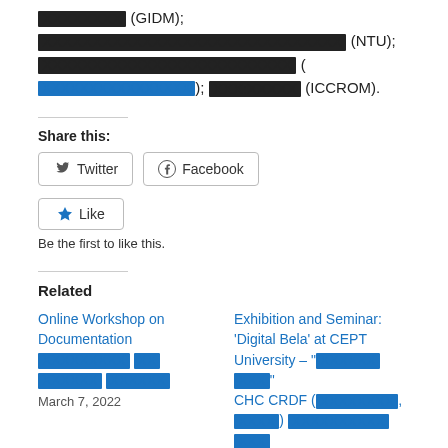XXXXXXXX (GIDM); XXXXXXXXXXXXXXXXXXXXXXXXXXXXXX (NTU); XXXXXXXXXXXXXXXXXXXXXXXXX ( XXXXXXXXXXXXXXXX); XXX:XXXXX (ICCROM).
Share this:
Twitter  Facebook
Like
Be the first to like this.
Related
Online Workshop on Documentation XXXXXXXXX XX XXXXXX XXXXXX
March 7, 2022
Exhibition and Seminar: 'Digital Bela' at CEPT University – "XXXXXX XXX" CHC CRDF (XXXXXXXX, XXXX) XXXXXXXXXX XXX